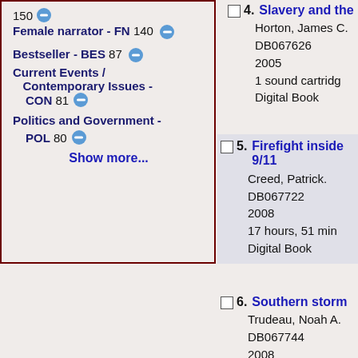150 Female narrator - FN 140 Bestseller - BES 87 Current Events / Contemporary Issues - CON 81 Politics and Government - POL 80 Show more...
4. Slavery and the... Horton, James C. DB067626 2005 1 sound cartridg... Digital Book
5. Firefight inside 9/11 Creed, Patrick. DB067722 2008 17 hours, 51 min... Digital Book
6. Southern storm... Trudeau, Noah A... DB067744 2008 1 sound cartridg... Digital Book